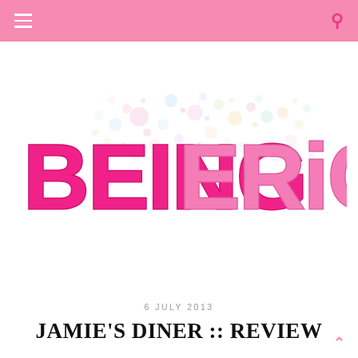Navigation bar with hamburger menu and search icon
[Figure (logo): Being Erica blog logo — bold bubbly hot-pink text 'BEING ERICA' with colorful confetti/bubble scatter pattern behind the text on white background]
6 JULY 2013
JAMIE'S DINER :: REVIEW